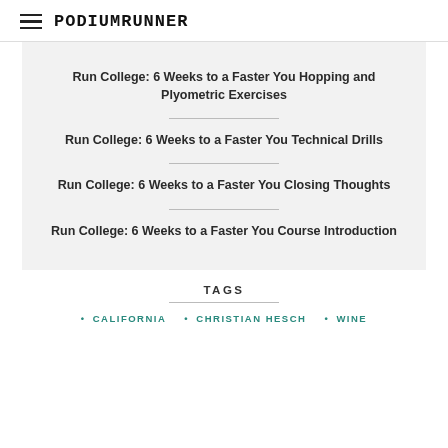PodiumRunner
Run College: 6 Weeks to a Faster You Hopping and Plyometric Exercises
Run College: 6 Weeks to a Faster You Technical Drills
Run College: 6 Weeks to a Faster You Closing Thoughts
Run College: 6 Weeks to a Faster You Course Introduction
TAGS
CALIFORNIA
CHRISTIAN HESCH
WINE